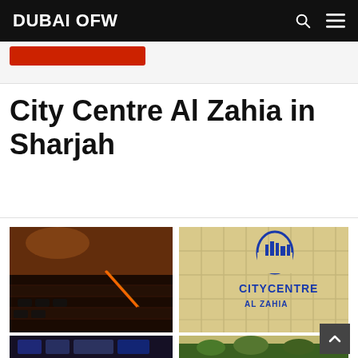DUBAI OFW
City Centre Al Zahia in Sharjah
[Figure (photo): Collage of City Centre Al Zahia: top-left shows cinema interior with red-lit staircase and dark theater seating; top-right shows exterior building facade with City Centre Al Zahia logo sign in blue on cream panels; bottom-left shows partial interior with colorful display; bottom-right shows exterior with greenery.]